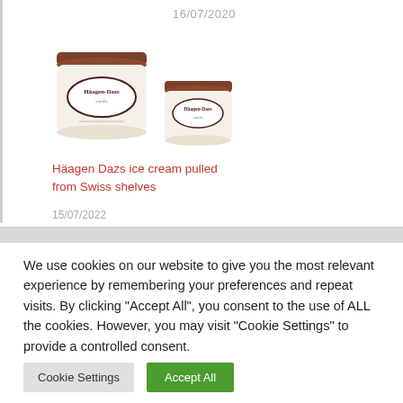16/07/2020
[Figure (photo): Two Häagen-Dazs vanilla ice cream containers, one large and one small]
Häagen Dazs ice cream pulled from Swiss shelves
15/07/2022
We use cookies on our website to give you the most relevant experience by remembering your preferences and repeat visits. By clicking "Accept All", you consent to the use of ALL the cookies. However, you may visit "Cookie Settings" to provide a controlled consent.
Cookie Settings
Accept All